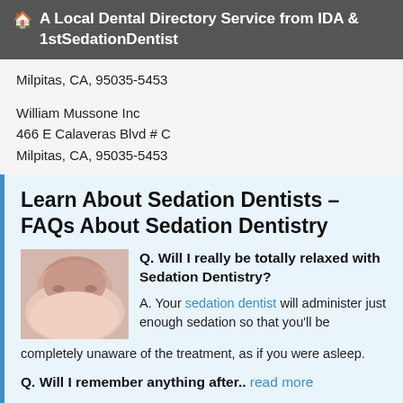A Local Dental Directory Service from IDA & 1stSedationDentist
Milpitas, CA, 95035-5453
William Mussone Inc
466 E Calaveras Blvd # C
Milpitas, CA, 95035-5453
Learn About Sedation Dentists – FAQs About Sedation Dentistry
[Figure (photo): Woman with eyes closed appearing relaxed, used to illustrate sedation dentistry]
Q. Will I really be totally relaxed with Sedation Dentistry?
A. Your sedation dentist will administer just enough sedation so that you'll be completely unaware of the treatment, as if you were asleep.
Q. Will I remember anything after.. read more
A Trained Sedation Dentist Can Change Your Life